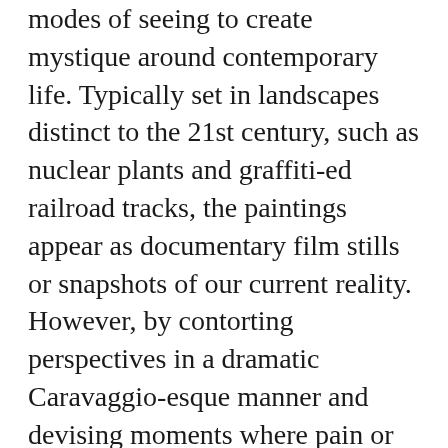modes of seeing to create mystique around contemporary life. Typically set in landscapes distinct to the 21st century, such as nuclear plants and graffiti-ed railroad tracks, the paintings appear as documentary film stills or snapshots of our current reality. However, by contorting perspectives in a dramatic Caravaggio-esque manner and devising moments where pain or discomfort appear as main subjects, Muntean / Rosenblum cultivate the same aura of the unknown that is so captivating in paintings centuries old.
Continue reading »
Cat Cocoons Designed To Suit A